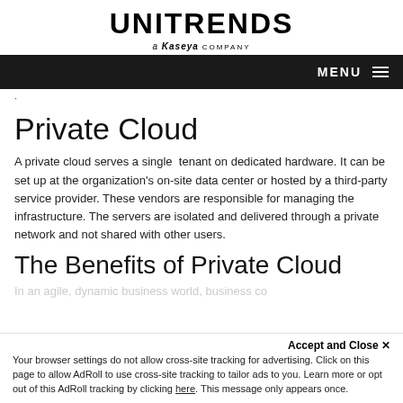UNITRENDS a Kaseya company
[Figure (logo): Unitrends logo with UNITRENDS in bold and 'a Kaseya company' subtitle]
Private Cloud
A private cloud serves a single tenant on dedicated hardware. It can be set up at the organization's on-site data center or hosted by a third-party service provider. These vendors are responsible for managing the infrastructure. The servers are isolated and delivered through a private network and not shared with other users.
The Benefits of Private Cloud
In an agile, dynamic business world, business continuity...
Accept and Close ×
Your browser settings do not allow cross-site tracking for advertising. Click on this page to allow AdRoll to use cross-site tracking to tailor ads to you. Learn more or opt out of this AdRoll tracking by clicking here. This message only appears once.